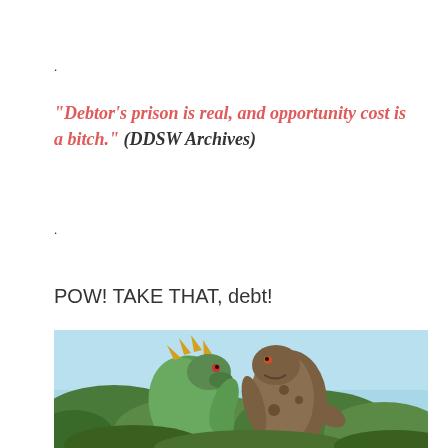.
“Debtor’s prison is real, and opportunity cost is a bitch.” (DDSW Archives)
.
POW! TAKE THAT, debt!
[Figure (photo): Two monster/creature figures (resembling Godzilla-style tokusatsu monsters) grappling outdoors with green foliage and blue sky in the background. The scene appears to be from a vintage monster movie.]